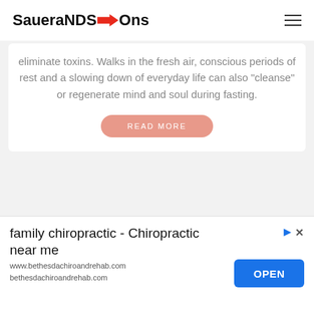SaueraNDS→Ons
eliminate toxins. Walks in the fresh air, conscious periods of rest and a slowing down of everyday life can also "cleanse" or regenerate mind and soul during fasting.
READ MORE
[Figure (photo): Close-up photo of a hand holding green herb/plant material]
family chiropractic - Chiropractic near me
www.bethesdachiroandrehab.com
bethesdachiroandrehab.com